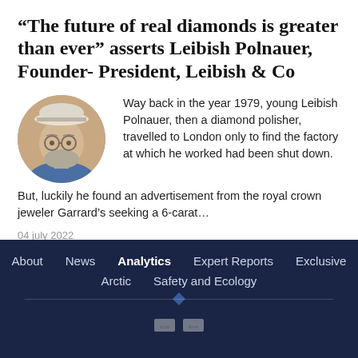“The future of real diamonds is greater than ever” asserts Leibish Polnauer, Founder- President, Leibish & Co
[Figure (photo): Circular portrait photo of an older man wearing glasses and a white/grey hat, with grey beard, looking slightly to the side.]
Way back in the year 1979, young Leibish Polnauer, then a diamond polisher, travelled to London only to find the factory at which he worked had been shut down. But, luckily he found an advertisement from the royal crown jeweler Garrard’s seeking a 6-carat…
04 july 2022
About  News  Analytics  Expert Reports  Exclusive  Arctic  Safety and Ecology